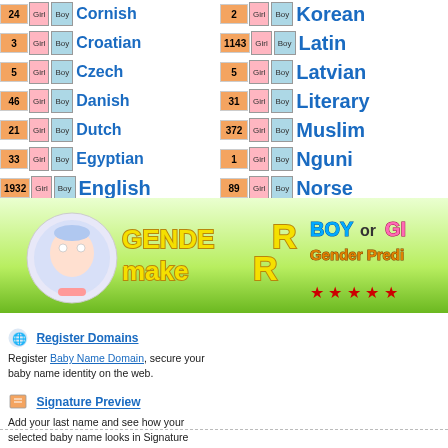24 Girl Boy Cornish
3 Girl Boy Croatian
5 Girl Boy Czech
46 Girl Boy Danish
21 Girl Boy Dutch
33 Girl Boy Egyptian
1932 Girl Boy English
1 Girl Boy Estonian
40 Girl Boy Filipino
8 Girl Boy Finnish
2 Girl Boy Korean
1143 Girl Boy Latin
5 Girl Boy Latvian
31 Girl Boy Literary
372 Girl Boy Muslim
1 Girl Boy Nguni
89 Girl Boy Norse
8 Girl Boy Norwegian
2 Girl Boy Parsi
1 Girl Boy Pentecostal
[Figure (illustration): GenderMaker banner with baby globe illustration, title text 'GenderMakeR' and 'BOY or GIRL Gender Predictor' with stars]
Register Domains - Register Baby Name Domain, secure your baby name identity on the web.
Signature Preview - Add your last name and see how your selected baby name looks in Signature Handwriting.